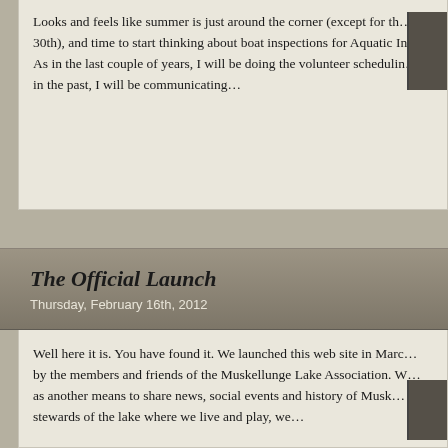Looks and feels like summer is just around the corner (except for the 30th), and time to start thinking about boat inspections for Aquatic In… As in the last couple of years, I will be doing the volunteer scheduling in the past, I will be communicating…
[Figure (photo): Dark thumbnail image in upper right corner of first post card]
The Official Launch
Thursday, February 16th, 2012
Well here it is. You have found it. We launched this web site in Marc… by the members and friends of the Muskellunge Lake Association. W… as another means to share news, social events and history of Musk… stewards of the lake where we live and play, we…
[Figure (photo): Dark thumbnail image in lower right corner of second post card]